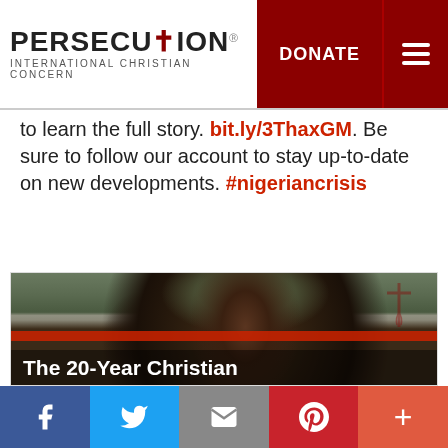PERSECUTION.org INTERNATIONAL CHRISTIAN CONCERN | DONATE [menu]
to learn the full story. bit.ly/3ThaxGM. Be sure to follow our account to stay up-to-date on new developments. #nigeriancrisis
[Figure (photo): Close-up photo of an African man wearing a grey knit winter hat, looking directly at camera with a serious expression. Another person is partially visible to the left. Background is an outdoor landscape. A small watermark cross/logo is visible in the upper right of the image. A red bar overlay appears near the bottom.]
The 20-Year Christian
f [Facebook] [Twitter] [Email] [Pinterest] +